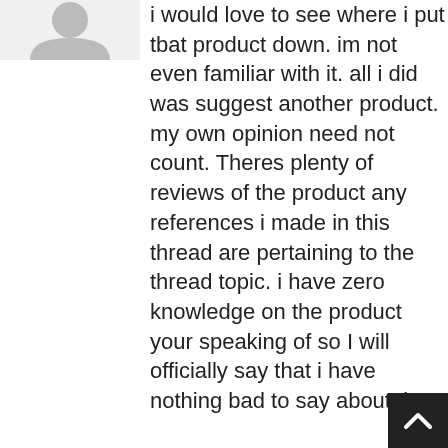[Figure (illustration): Partial avatar/profile icon silhouette visible at top left]
i would love to see where i put tbat product down. im not even familiar with it. all i did was suggest another product. my own opinion need not count. Theres plenty of reviews of the product any references i made in this thread are pertaining to the thread topic. i have zero knowledge on the product your speaking of so I will officially say that i have nothing bad to say about the product nor i have ever heard anything bad about it. Thanks for pointing out the spelling mistake! Everything is done by me and I focus way more on customer service then anything. Late night graphic designs thats all. Totally appreciate it. As for the misinterpretation of any of my comments its cool. Im still curious where you see me put them down